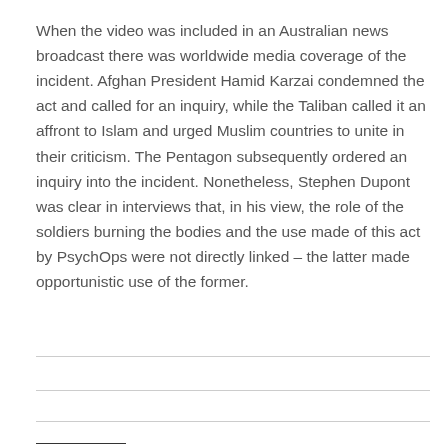When the video was included in an Australian news broadcast there was worldwide media coverage of the incident. Afghan President Hamid Karzai condemned the act and called for an inquiry, while the Taliban called it an affront to Islam and urged Muslim countries to unite in their criticism. The Pentagon subsequently ordered an inquiry into the incident. Nonetheless, Stephen Dupont was clear in interviews that, in his view, the role of the soldiers burning the bodies and the use made of this act by PsychOps were not directly linked – the latter made opportunistic use of the former.